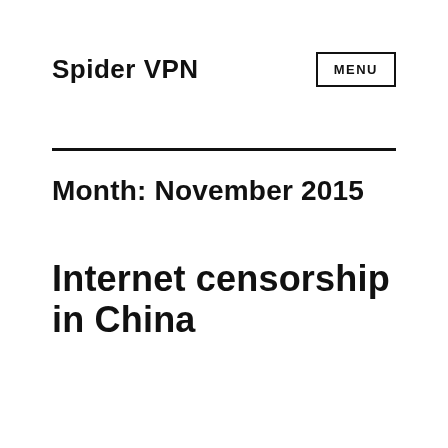Spider VPN
MENU
Month: November 2015
Internet censorship in China